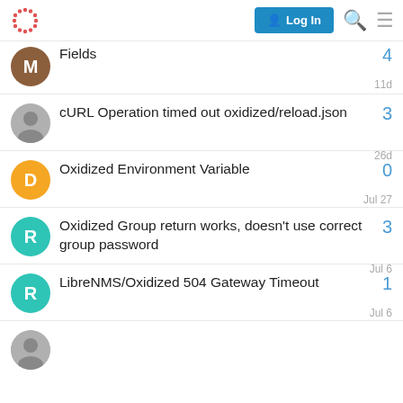Log In
Fields
cURL Operation timed out oxidized/reload.json
Oxidized Environment Variable
Oxidized Group return works, doesn't use correct group password
LibreNMS/Oxidized 504 Gateway Timeout